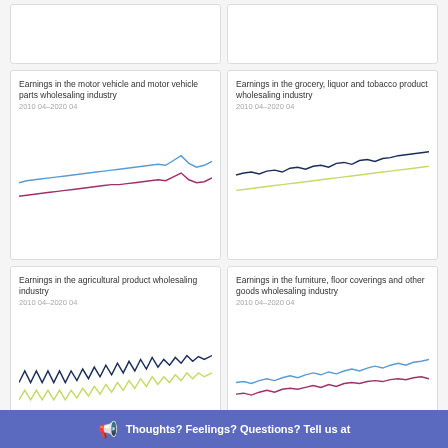[Figure (line-chart): Empty top-left card]
[Figure (line-chart): Empty top-right card]
[Figure (line-chart): 2010 04-2020 04, two line series (blue and purple) trending upward with dip at end]
[Figure (line-chart): 2010 04-2020 04, two line series (dark navy and yellow-green) trending upward]
[Figure (line-chart): 2010 04-2020 04, two line series (dark navy zigzag and yellow-green zigzag)]
[Figure (line-chart): 2010 04-2020 04, two line series (blue and purple) trending upward]
Thoughts? Feelings? Questions? Tell us at